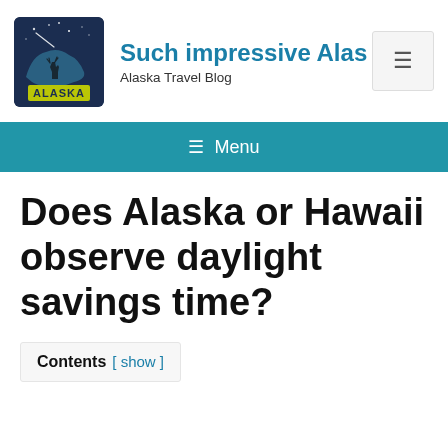[Figure (logo): Alaska travel blog logo with Alaska state silhouette, night sky, and 'ALASKA' text in yellow]
Such impressive Alas
Alaska Travel Blog
≡ Menu
Does Alaska or Hawaii observe daylight savings time?
Contents [ show ]